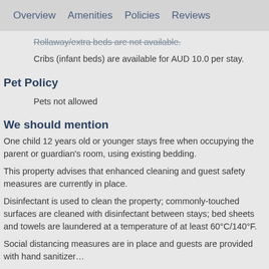Overview  Amenities  Policies  Reviews
Rollaway/extra beds are not available.
Cribs (infant beds) are available for AUD 10.0 per stay.
Pet Policy
Pets not allowed
We should mention
One child 12 years old or younger stays free when occupying the parent or guardian's room, using existing bedding.
This property advises that enhanced cleaning and guest safety measures are currently in place.
Disinfectant is used to clean the property; commonly-touched surfaces are cleaned with disinfectant between stays; bed sheets and towels are laundered at a temperature of at least 60°C/140°F.
Social distancing measures are in place and guests are provided with hand sanitizer…